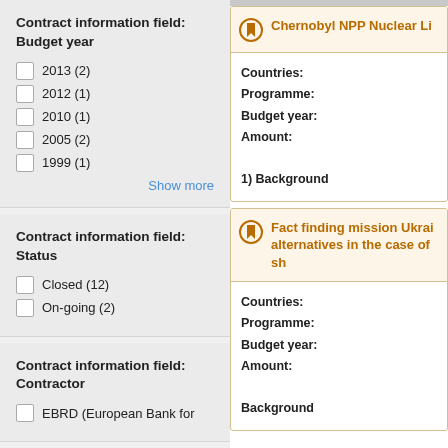Contract information field:
Budget year
2013 (2)
2012 (1)
2010 (1)
2005 (2)
1999 (1)
Show more
Contract information field:
Status
Closed (12)
On-going (2)
Contract information field:
Contractor
EBRD (European Bank for
Chernobyl NPP Nuclear Li
Countries:
Programme:
Budget year:
Amount:
1) Background
Fact finding mission Ukrai alternatives in the case of sh
Countries:
Programme:
Budget year:
Amount:
Background